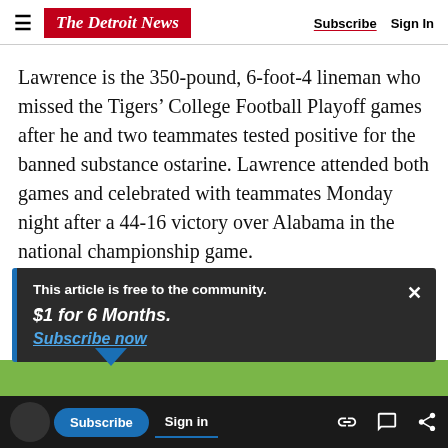The Detroit News | Subscribe | Sign In
Lawrence is the 350-pound, 6-foot-4 lineman who missed the Tigers’ College Football Playoff games after he and two teammates tested positive for the banned substance ostarine. Lawrence attended both games and celebrated with teammates Monday night after a 44-16 victory over Alabama in the national championship game.
This article is free to the community.
$1 for 6 Months.
Subscribe now